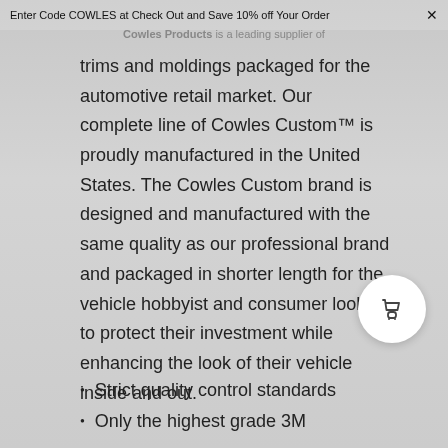Enter Code COWLES at Check Out and Save 10% off Your Order ✕
Cowles Products is a leading supplier of trims and moldings packaged for the automotive retail market. Our complete line of Cowles Custom™ is proudly manufactured in the United States. The Cowles Custom brand is designed and manufactured with the same quality as our professional brand and packaged in shorter length for the vehicle hobbyist and consumer looking to protect their investment while enhancing the look of their vehicle inside and out.
[Figure (illustration): Shopping cart icon inside a white circle button]
Strict quality control standards
Only the highest grade 3M